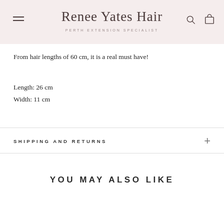Renee Yates Hair — Perth Extension Specialist
From hair lengths of 60 cm, it is a real must have!
Length: 26 cm
Width: 11 cm
SHIPPING AND RETURNS
YOU MAY ALSO LIKE